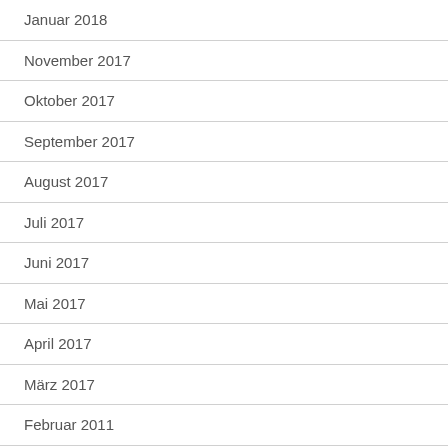Januar 2018
November 2017
Oktober 2017
September 2017
August 2017
Juli 2017
Juni 2017
Mai 2017
April 2017
März 2017
Februar 2011
Mai 2009
März 2009